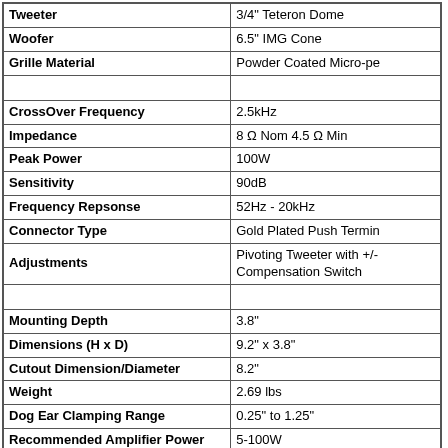| Attribute | Value |
| --- | --- |
| Tweeter | 3/4" Teteron Dome |
| Woofer | 6.5" IMG Cone |
| Grille Material | Powder Coated Micro-pe |
|  |  |
| CrossOver Frequency | 2.5kHz |
| Impedance | 8 Ω Nom 4.5 Ω Min |
| Peak Power | 100W |
| Sensitivity | 90dB |
| Frequency Repsonse | 52Hz - 20kHz |
| Connector Type | Gold Plated Push Termi |
| Adjustments | Pivoting Tweeter with +/- Compensation Switch |
|  |  |
| Mounting Depth | 3.8" |
| Dimensions (H x D) | 9.2" x 3.8" |
| Cutout Dimension/Diameter | 8.2" |
| Weight | 2.69 lbs |
| Dog Ear Clamping Range | 0.25" to 1.25" |
| Recommended Amplifier Power | 5-100W |
| Speaker Dispersion Angle | 110° |
|  |  |